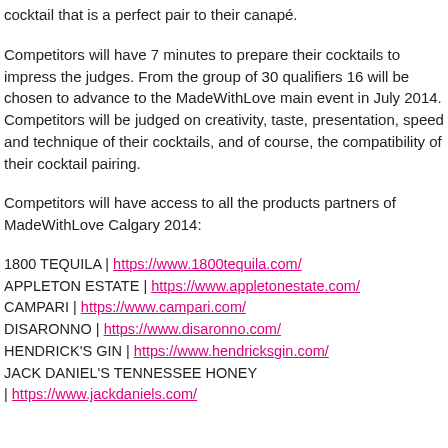cocktail that is a perfect pair to their canapé.
Competitors will have 7 minutes to prepare their cocktails to impress the judges. From the group of 30 qualifiers 16 will be chosen to advance to the MadeWithLove main event in July 2014. Competitors will be judged on creativity, taste, presentation, speed and technique of their cocktails, and of course, the compatibility of their cocktail pairing.
Competitors will have access to all the products partners of MadeWithLove Calgary 2014:
1800 TEQUILA | https://www.1800tequila.com/
APPLETON ESTATE | https://www.appletonestate.com/
CAMPARI | https://www.campari.com/
DISARONNO | https://www.disaronno.com/
HENDRICK'S GIN | https://www.hendricksgin.com/
JACK DANIEL'S TENNESSEE HONEY | https://www.jackdaniels.com/